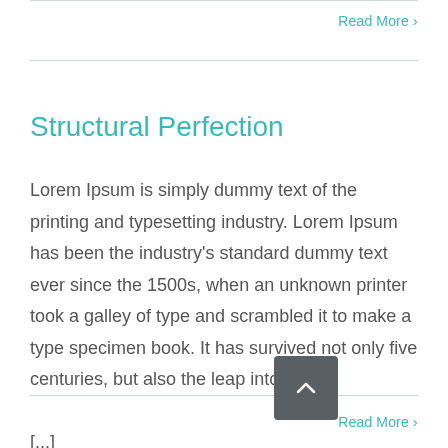Read More >
Structural Perfection
Lorem Ipsum is simply dummy text of the printing and typesetting industry. Lorem Ipsum has been the industry's standard dummy text ever since the 1500s, when an unknown printer took a galley of type and scrambled it to make a type specimen book. It has survived not only five centuries, but also the leap into [...]
Read More >